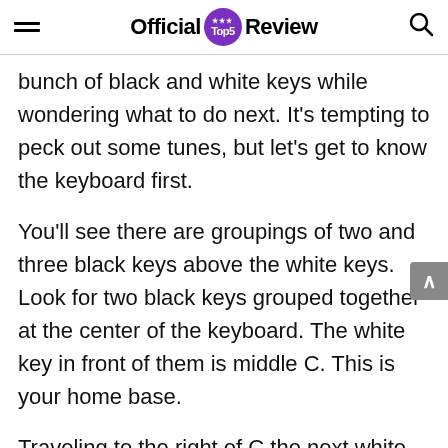Official Top5 Review
bunch of black and white keys while wondering what to do next. It’s tempting to peck out some tunes, but let’s get to know the keyboard first.
You’ll see there are groupings of two and three black keys above the white keys. Look for two black keys grouped together at the center of the keyboard. The white key in front of them is middle C. This is your home base.
Traveling to the right of C the next white key is, well you guessed it, D. This continues, E-F-